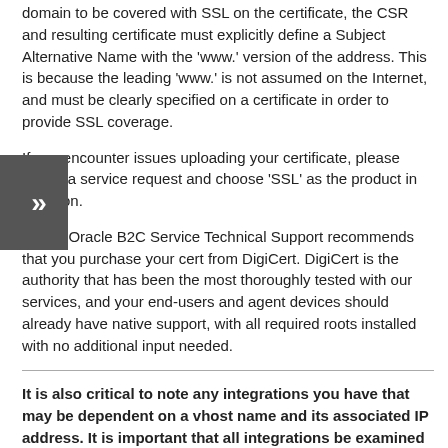domain to be covered with SSL on the certificate, the CSR and resulting certificate must explicitly define a Subject Alternative Name with the 'www.' version of the address. This is because the leading 'www.' is not assumed on the Internet, and must be clearly specified on a certificate in order to provide SSL coverage.
If you encounter issues uploading your certificate, please create a service request and choose 'SSL' as the product in question.
Lastly, Oracle B2C Service Technical Support recommends that you purchase your cert from DigiCert. DigiCert is the authority that has been the most thoroughly tested with our services, and your end-users and agent devices should already have native support, with all required roots installed with no additional input needed.
It is also critical to note any integrations you have that may be dependent on a vhost name and its associated IP address. It is important that all integrations be examined for hard-coded values, and the Oracle B2C Service department should be